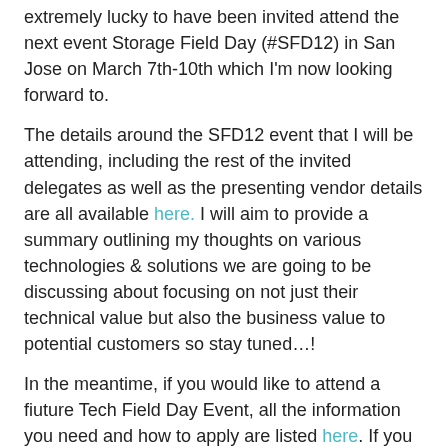extremely lucky to have been invited attend the next event Storage Field Day (#SFD12) in San Jose on March 7th-10th which I'm now looking forward to.
The details around the SFD12 event that I will be attending, including the rest of the invited delegates as well as the presenting vendor details are all available here. I will aim to provide a summary outlining my thoughts on various technologies & solutions we are going to be discussing about focusing on not just their technical value but also the business value to potential customers so stay tuned…!
In the meantime, if you would like to attend a fiuture Tech Field Day Event, all the information you need and how to apply are listed here. If you would like to see what the typical event sessions look like, have a look at their youtube feed here for past event recordings.
Thanks
Chan